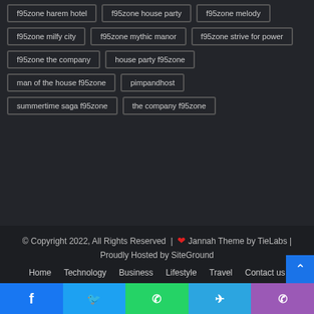f95zone harem hotel
f95zone house party
f95zone melody
f95zone milfy city
f95zone mythic manor
f95zone strive for power
f95zone the company
house party f95zone
man of the house f95zone
pimpandhost
summertime saga f95zone
the company f95zone
© Copyright 2022, All Rights Reserved | ♥ Jannah Theme by TieLabs | Proudly Hosted by SiteGround
Home | Technology | Business | Lifestyle | Travel | Contact us